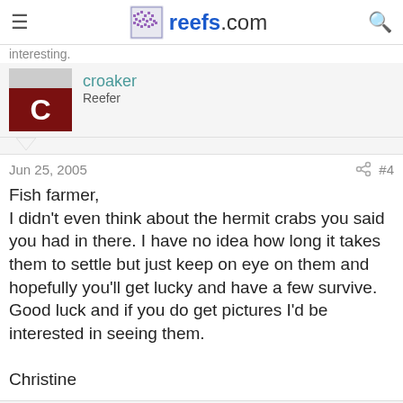reefs.com
interesting.
croaker
Reefer
Jun 25, 2005   #4
Fish farmer,
I didn't even think about the hermit crabs you said you had in there. I have no idea how long it takes them to settle but just keep on eye on them and hopefully you'll get lucky and have a few survive. Good luck and if you do get pictures I'd be interested in seeing them.

Christine
spawner
Advanced Reefer
Jun 26, 2005   #5